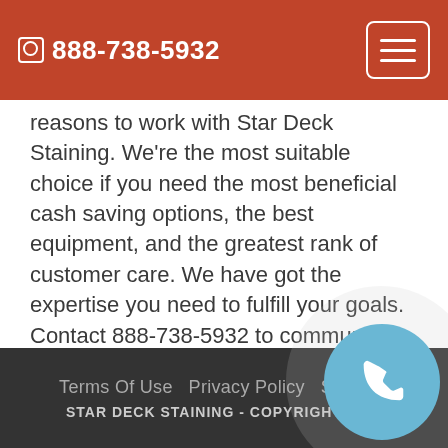888-738-5932
reasons to work with Star Deck Staining. We're the most suitable choice if you need the most beneficial cash saving options, the best equipment, and the greatest rank of customer care. We have got the expertise you need to fulfill your goals. Contact 888-738-5932 to communicate with Star Deck Staining and examine your expectations concerning Deck Staining in Buena Park.
Terms Of Use   Privacy Policy   Sitemap
STAR DECK STAINING - COPYRIGHT 2015